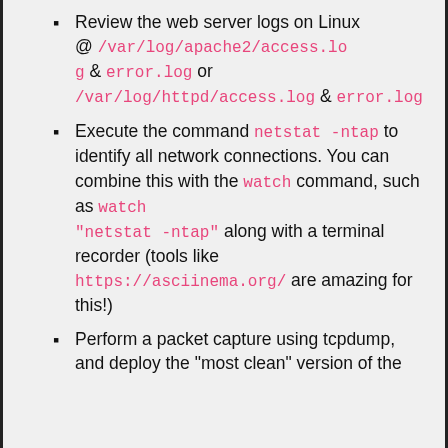Review the web server logs on Linux @ /var/log/apache2/access.log & error.log or /var/log/httpd/access.log & error.log
Execute the command netstat -ntap to identify all network connections. You can combine this with the watch command, such as watch "netstat -ntap" along with a terminal recorder (tools like https://asciinema.org/ are amazing for this!)
Perform a packet capture using tcpdump, and deploy the "most clean" version of the